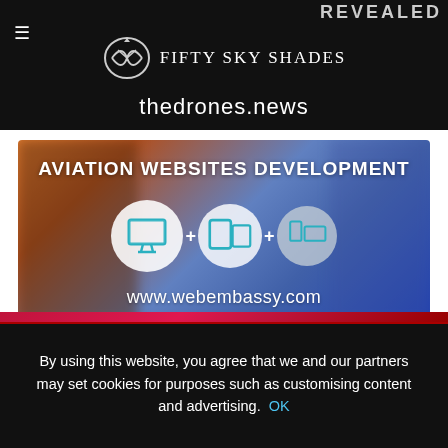[Figure (screenshot): Fifty Sky Shades website header with logo, drone icon, and thedrones.news domain text on black background]
[Figure (infographic): Aviation Websites Development advertisement banner with device icons (desktop, tablet, mobile) and www.webembassy.com URL on blurred sky background]
By using this website, you agree that we and our partners may set cookies for purposes such as customising content and advertising.  OK